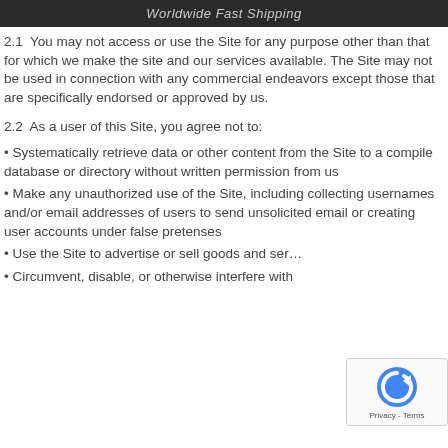Worldwide Fast Shipping
2.1  You may not access or use the Site for any purpose other than that for which we make the site and our services available. The Site may not be used in connection with any commercial endeavors except those that are specifically endorsed or approved by us.
2.2  As a user of this Site, you agree not to:
Systematically retrieve data or other content from the Site to a compile database or directory without written permission from us
Make any unauthorized use of the Site, including collecting usernames and/or email addresses of users to send unsolicited email or creating user accounts under false pretenses
Use the Site to advertise or sell goods and ser…
Circumvent, disable, or otherwise interfere with…